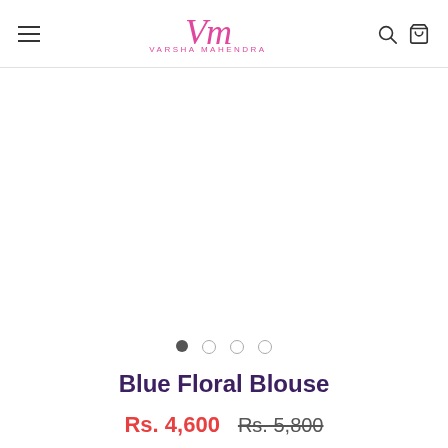Varsha Mahendra — navigation header with hamburger menu, logo, search and cart icons
[Figure (other): Product image carousel area (blank/white — image not loaded), with 4 navigation dots below; first dot is filled (active), remaining three are empty circles.]
Blue Floral Blouse
Rs. 4,600  Rs. 5,800 (strikethrough)